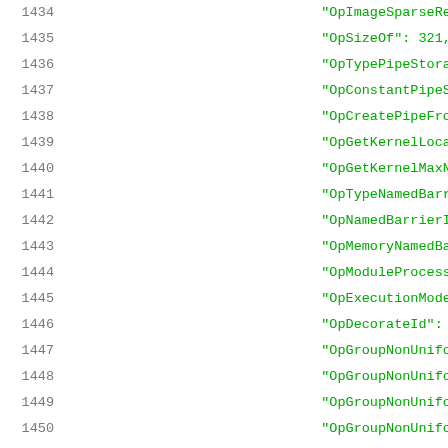Code listing lines 1434-1455 showing SPIR-V opcode enumeration entries
1434    "OpImageSparseRead": 320,
1435    "OpSizeOf": 321,
1436    "OpTypePipeStorage": 322,
1437    "OpConstantPipeStorage": 32...
1438    "OpCreatePipeFromPipeStorag...
1439    "OpGetKernelLocalSizeForSub...
1440    "OpGetKernelMaxNumSubgroups...
1441    "OpTypeNamedBarrier": 327,
1442    "OpNamedBarrierInitialize":...
1443    "OpMemoryNamedBarrier": 329...
1444    "OpModuleProcessed": 330,
1445    "OpExecutionModeId": 331,
1446    "OpDecorateId": 332,
1447    "OpGroupNonUniformElect": 3...
1448    "OpGroupNonUniformAll": 334...
1449    "OpGroupNonUniformAny": 335...
1450    "OpGroupNonUniformAllEqual"...
1451    "OpGroupNonUniformBroadcast...
1452    "OpGroupNonUniformBroadcast...
1453    "OpGroupNonUniformBallot":...
1454    "OpGroupNonUniformInverseBa...
1455    "OpGroupNonUniformBallotBi...